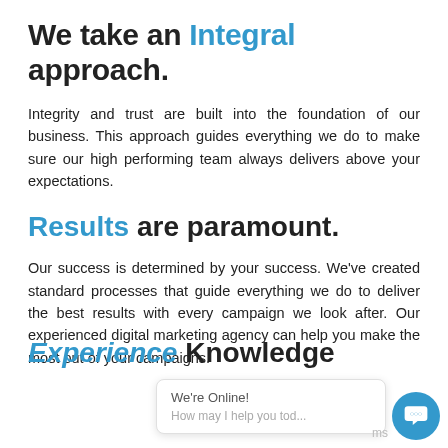We take an Integral approach.
Integrity and trust are built into the foundation of our business. This approach guides everything we do to make sure our high performing team always delivers above your expectations.
Results are paramount.
Our success is determined by your success. We've created standard processes that guide everything we do to deliver the best results with every campaign we look after. Our experienced digital marketing agency can help you make the most out of your campaigns.
Experience Knowledge